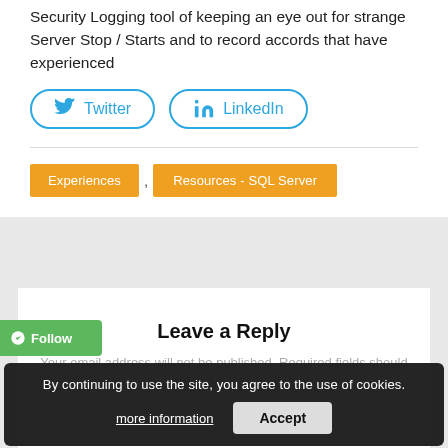Security Logging tool of keeping an eye out for strange Server Stop / Starts and to record accords that have experienced
[Figure (other): Twitter and LinkedIn social share buttons with bird/in icons]
Experiences
Resources - SQL Server
Leave a Reply
Your email address will not be published. Required fields should
By continuing to use the site, you agree to the use of cookies. more information  Accept